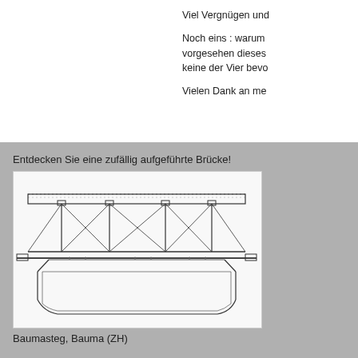Viel Vergnügen und
Noch eins : warum vorgesehen dieses keine der Vier bevo
Vielen Dank an me
Entdecken Sie eine zufällig aufgeführte Brücke!
[Figure (engineering-diagram): Cross-section engineering drawing of a bridge structure (Baumasteg) showing the truss framework, deck, supports, and a curved lower chord element. Black and white technical illustration.]
Baumasteg, Bauma (ZH)